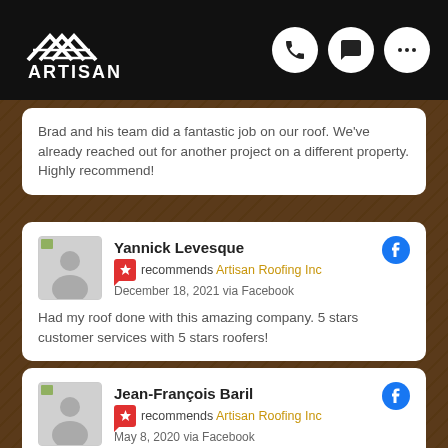ARTISAN — navigation bar with phone, chat, and more icons
Brad and his team did a fantastic job on our roof. We've already reached out for another project on a different property. Highly recommend!
Yannick Levesque recommends Artisan Roofing Inc — December 18, 2021 via Facebook — Had my roof done with this amazing company. 5 stars customer services with 5 stars roofers!
Jean-François Baril recommends Artisan Roofing Inc — May 8, 2020 via Facebook